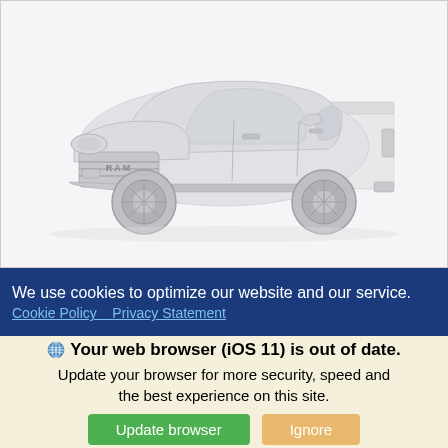[Figure (photo): White RAM pickup truck (crew cab) shown from a front-three-quarter angle against a light gray/white background. The truck appears to be a modern RAM 1500 with chrome grille details and alloy wheels.]
We use cookies to optimize our website and our service.
Cookie Policy   Privacy Statement
Your web browser (iOS 11) is out of date.
Update your browser for more security, speed and the best experience on this site.
Update browser
Ignore